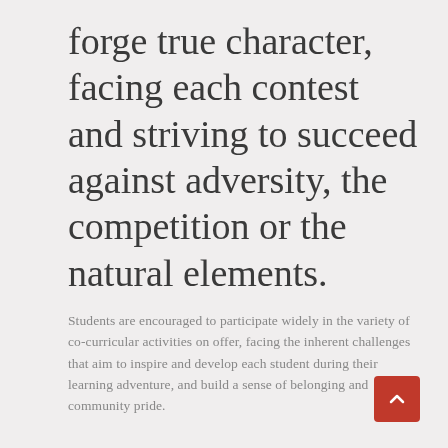forge true character, facing each contest and striving to succeed against adversity, the competition or the natural elements.
Students are encouraged to participate widely in the variety of co-curricular activities on offer, facing the inherent challenges that aim to inspire and develop each student during their learning adventure, and build a sense of belonging and community pride.